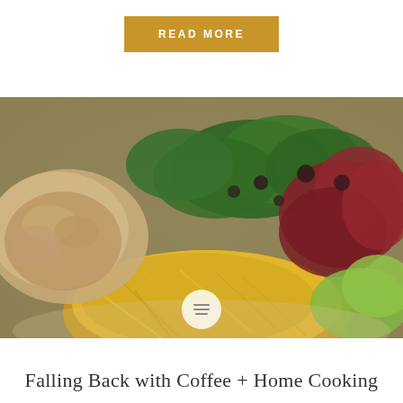READ MORE
[Figure (photo): Close-up photo of a plate of food including shredded chicken or tuna, spaghetti squash, and mixed greens salad with purple radicchio and dark dressing]
Falling Back with Coffee + Home Cooking